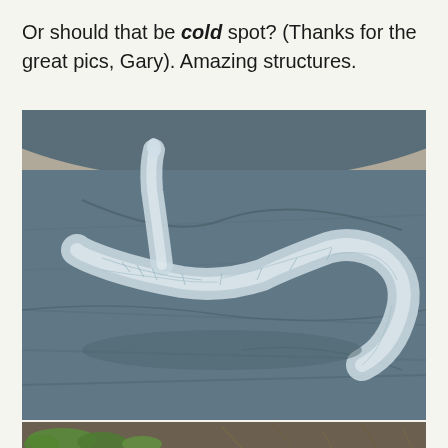Or should that be cold spot? (Thanks for the great pics, Gary). Amazing structures.
[Figure (photo): Close-up photograph of an ice formation shaped like a snake or slug lying on a dark surface inside a round container. The ice structure has intricate crystalline textures and patterns along its body.]
[Figure (photo): Partial photograph showing green moss and dried plant material on the ground, partially visible at the bottom of the page.]